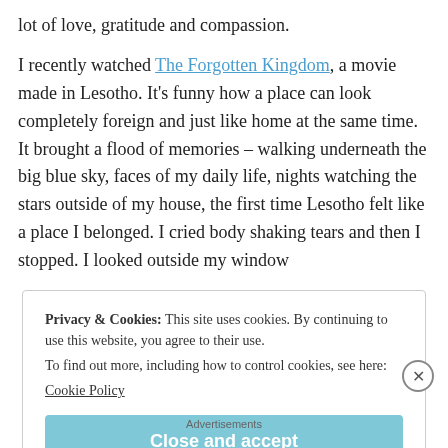lot of love, gratitude and compassion.
I recently watched The Forgotten Kingdom, a movie made in Lesotho. It’s funny how a place can look completely foreign and just like home at the same time. It brought a flood of memories – walking underneath the big blue sky, faces of my daily life, nights watching the stars outside of my house, the first time Lesotho felt like a place I belonged. I cried body shaking tears and then I stopped. I looked outside my window
Privacy & Cookies: This site uses cookies. By continuing to use this website, you agree to their use.
To find out more, including how to control cookies, see here:
Cookie Policy
Close and accept
Advertisements